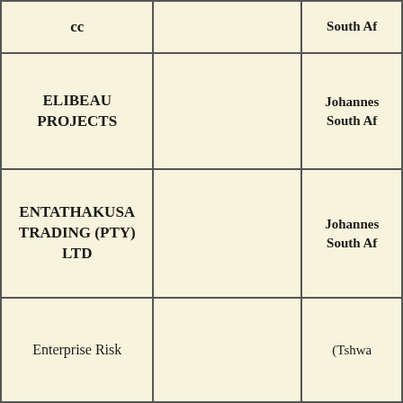| cc |  | South Af... |
| ELIBEAU PROJECTS |  | Johannes... South Af... |
| ENTATHAKUSA TRADING (PTY) LTD |  | Johannes... South Af... |
| Enterprise Risk |  | (Tshwa... |